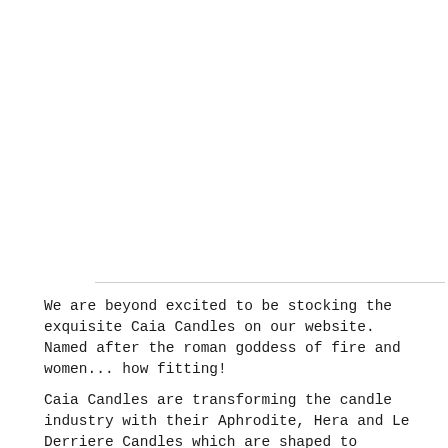We are beyond excited to be stocking the exquisite Caia Candles on our website. Named after the roman goddess of fire and women... how fitting!
Caia Candles are transforming the candle industry with their Aphrodite, Hera and Le Derriere Candles which are shaped to